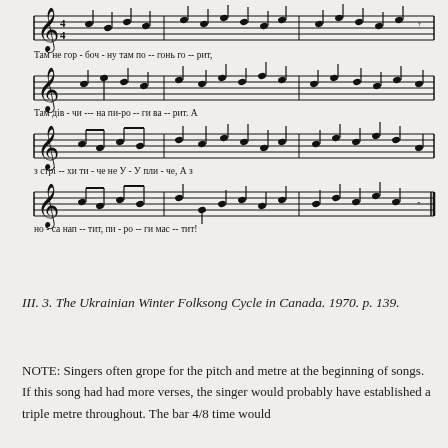[Figure (other): Four lines of musical notation (treble clef, 4/4 time) with Cyrillic lyrics underneath each staff line. The lyrics read: Там не гор-боч-ну там по--гонь го--рит, / Там дів-чи---на пи-ро--ги ва--рит. А / з стрі--хи ти-че не У-У пли-че, А з / но-са нап--тит, пи-ро--ги мас--тит!]
III. 3. The Ukrainian Winter Folksong Cycle in Canada. 1970. p. 139.
NOTE: Singers often grope for the pitch and metre at the beginning of songs. If this song had had more verses, the singer would probably have established a triple metre throughout. The bar 4/8 time would